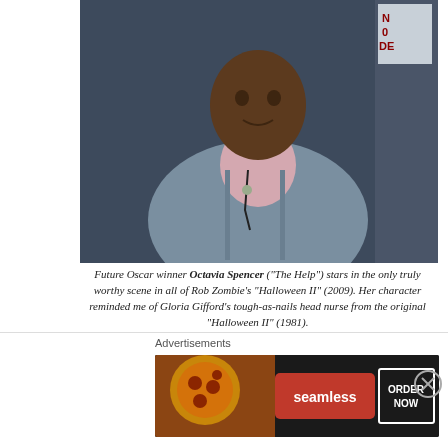[Figure (photo): A person in a grey cardigan and light pink turtleneck standing in what appears to be a hospital or official setting, with a partial sign visible in the upper right corner.]
Future Oscar winner Octavia Spencer ("The Help") stars in the only truly worthy scene in all of Rob Zombie's "Halloween II" (2009). Her character reminded me of Gloria Gifford's tough-as-nails head nurse from the original "Halloween II" (1981).
The only bright spot in this incoherent mess of a movie is a terrifying dream sequence where Laurie imagines herself at a hospital (much like the real "Halloween II"), where she discovers that even more death and horror await her there as well.  The
Advertisements
[Figure (screenshot): Seamless food delivery advertisement banner showing pizza on left, Seamless logo in red in center, and 'ORDER NOW' button on right, all on a dark background.]